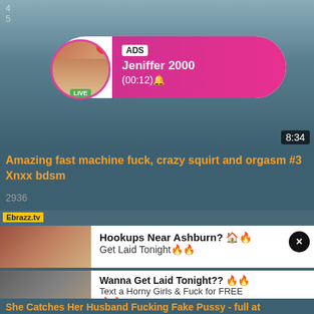[Figure (screenshot): Video thumbnail with notification overlay showing profile avatar with LIVE badge, ADS label, username Jeniffer 2000, time (00:12), video timestamp 8:34]
Amazing fast machine fuck, crazy squirt and orgasm #3 Xnxx bdsm
2936
[Figure (screenshot): Ebrazz.tv banner with two ad overlays: 'Hookups Near Ashburn? Get Laid Tonight' and 'Wanna Get Laid Tonight?? Text a Horny Girls & Fuck for FREE']
She Catches Her Husband Fucking Fake Pussy - full at